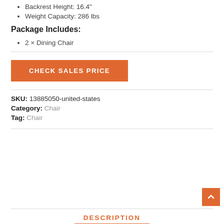Backrest Height: 16.4"
Weight Capacity: 286 lbs
Package Includes:
2 × Dining Chair
CHECK SALES PRICE
SKU: 13885050-united-states
Category: Chair
Tag: Chair
DESCRIPTION